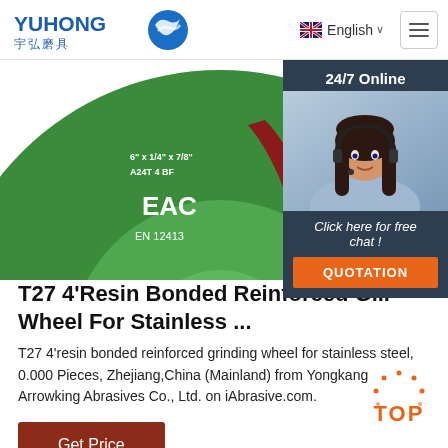[Figure (logo): Yuhong brand logo with Chinese characters and blue wave icon]
English
[Figure (photo): Green grinding wheel (T27 4-inch resin bonded reinforced grinding wheel for stainless steel) with EAC mark and EN 12413 certification, showing label with A24T 4 BF specification. Partial view with customer service representative in upper right corner showing '24/7 Online' chat overlay with 'Click here for free chat!' and QUOTATION button.]
T27 4'Resin Bonded Reinforced Grinding Wheel For Stainless ...
T27 4'resin bonded reinforced grinding wheel for stainless steel, 0.000 Pieces, Zhejiang,China (Mainland) from Yongkang Arrowking Abrasives Co., Ltd. on iAbrasive.com.
Get Price